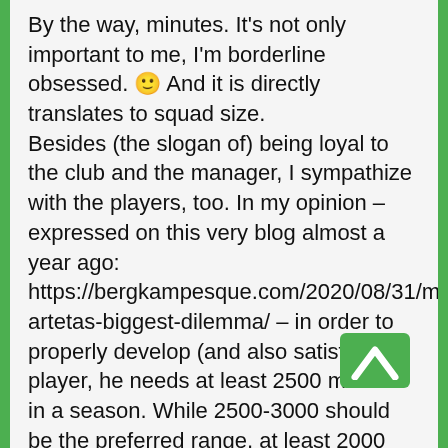By the way, minutes. It's not only important to me, I'm borderline obsessed. 🙂 And it is directly translates to squad size.
Besides (the slogan of) being loyal to the club and the manager, I sympathize with the players, too. In my opinion – expressed on this very blog almost a year ago: https://bergkampesque.com/2020/08/31/mikel-artetas-biggest-dilemma/ – in order to properly develop (and also satisfy) a player, he needs at least 2500 minutes in a season. While 2500-3000 should be the preferred range, at least 2000 senior, competitive minutes should be acceptable. But below that it's like depriving water from plants; without